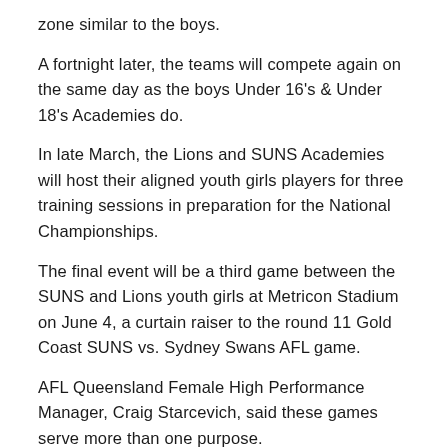zone similar to the boys.
A fortnight later, the teams will compete again on the same day as the boys Under 16's & Under 18's Academies do.
In late March, the Lions and SUNS Academies will host their aligned youth girls players for three training sessions in preparation for the National Championships.
The final event will be a third game between the SUNS and Lions youth girls at Metricon Stadium on June 4, a curtain raiser to the round 11 Gold Coast SUNS vs. Sydney Swans AFL game.
AFL Queensland Female High Performance Manager, Craig Starcevich, said these games serve more than one purpose.
"These games are not only selection trials for the